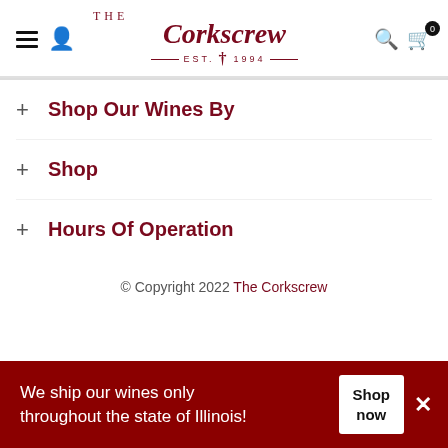[Figure (logo): The Corkscrew logo in dark red cursive script with 'The' above and 'EST. 1994' below with decorative lines]
+ Shop Our Wines By
+ Shop
+ Hours Of Operation
© Copyright 2022 The Corkscrew
We ship our wines only throughout the state of Illinois!